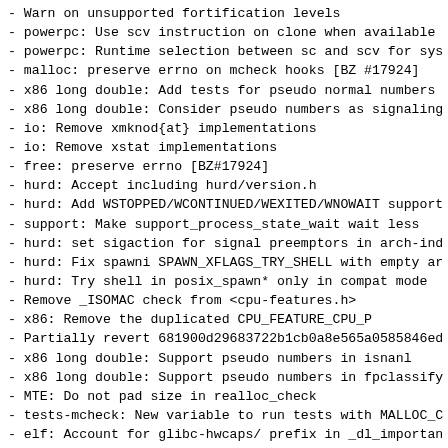- Warn on unsupported fortification levels
- powerpc: Use scv instruction on clone when available
- powerpc: Runtime selection between sc and scv for sys
- malloc: preserve errno on mcheck hooks [BZ #17924]
- x86 long double: Add tests for pseudo normal numbers
- x86 long double: Consider pseudo numbers as signaling
- io: Remove xmknod{at} implementations
- io: Remove xstat implementations
- free: preserve errno [BZ#17924]
- hurd: Accept including hurd/version.h
- hurd: Add WSTOPPED/WCONTINUED/WEXITED/WNOWAIT support
- support: Make support_process_state_wait wait less
- hurd: set sigaction for signal preemptors in arch-ind
- hurd: Fix spawni SPAWN_XFLAGS_TRY_SHELL with empty ar
- hurd: Try shell in posix_spawn* only in compat mode
- Remove _ISOMAC check from <cpu-features.h>
- x86: Remove the duplicated CPU_FEATURE_CPU_P
- Partially revert 681900d29683722b1cb0a8e565a0585846ed
- x86 long double: Support pseudo numbers in isnanl
- x86 long double: Support pseudo numbers in fpclassify
- MTE: Do not pad size in realloc_check
- tests-mcheck: New variable to run tests with MALLOC_C
- elf: Account for glibc-hwcaps/ prefix in _dl_importan
- misc: Use __ferror_unlocked instead of ferror
- s390x: Regenerate ulps
- powerpc: Regenerate ulps
- addmntent: Remove unbounded alloca usage from getmnte
- <sys/platform/x86.h>: Add Intel LAM support
- i386: Regenerate ulps
- aarch64: update ulps.
- x86: Add x86 specific files for some tests